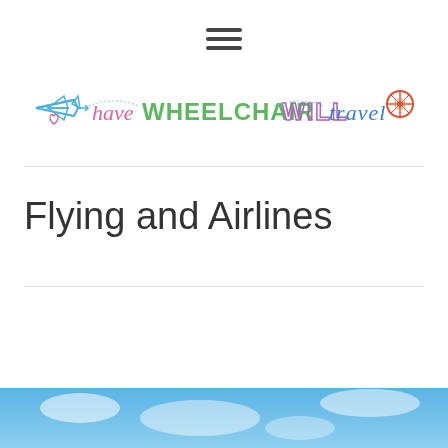☰ (hamburger menu icon)
[Figure (logo): Have Wheelchair Will Travel logo — colorful illustrated text with an airplane, wheelchair wheel, and script lettering in pink, green, purple, and blue]
Flying and Airlines
[Figure (photo): Blue sky with clouds, partial view at bottom of page]